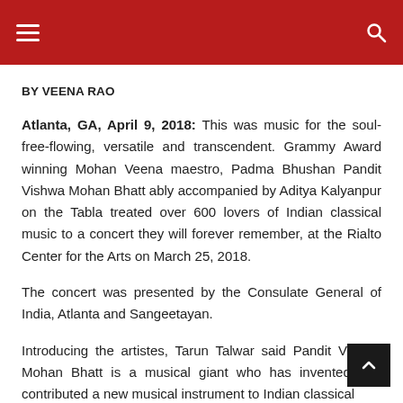≡  🔍
BY VEENA RAO
Atlanta, GA, April 9, 2018: This was music for the soul- free-flowing, versatile and transcendent. Grammy Award winning Mohan Veena maestro, Padma Bhushan Pandit Vishwa Mohan Bhatt ably accompanied by Aditya Kalyanpur on the Tabla treated over 600 lovers of Indian classical music to a concert they will forever remember, at the Rialto Center for the Arts on March 25, 2018.
The concert was presented by the Consulate General of India, Atlanta and Sangeetayan.
Introducing the artistes, Tarun Talwar said Pandit Vishwa Mohan Bhatt is a musical giant who has invented and contributed a new musical instrument to Indian classical